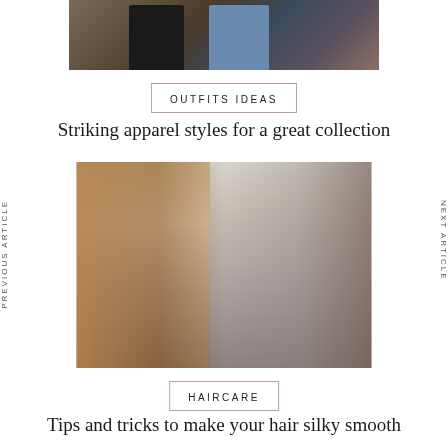[Figure (photo): Top portion of a fashion photo showing people in dark and blue jeans/outfits from waist down]
OUTFITS IDEAS
Striking apparel styles for a great collection
PREVIOUS ARTICLE
NEXT ARTICLE
[Figure (photo): Salon scene with two women, one photographing the other's long dark wavy hair with a smartphone]
HAIRCARE
Tips and tricks to make your hair silky smooth